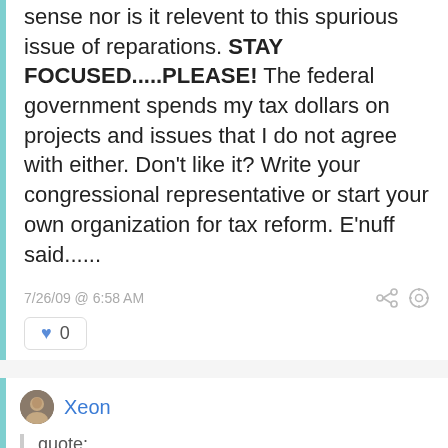sense nor is it relevent to this spurious issue of reparations. STAY FOCUSED.....PLEASE! The federal government spends my tax dollars on projects and issues that I do not agree with either. Don't like it? Write your congressional representative or start your own organization for tax reform. E'nuff said......
7/26/09 @ 6:58 AM
0
Xeon
quote:
How can any American take such a feeble position?